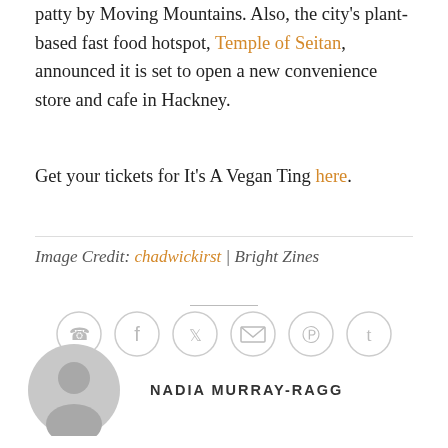patty by Moving Mountains. Also, the city's plant-based fast food hotspot, Temple of Seitan, announced it is set to open a new convenience store and cafe in Hackney.
Get your tickets for It's A Vegan Ting here.
Image Credit: chadwickirst | Bright Zines
[Figure (infographic): Social media sharing icons in circles: WhatsApp, Facebook, Twitter, Email, Pinterest, Tumblr]
NADIA MURRAY-RAGG